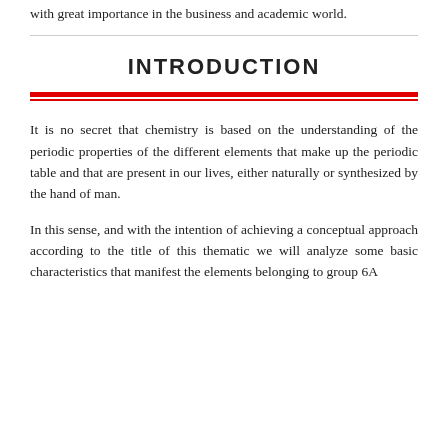with great importance in the business and academic world.
INTRODUCTION
It is no secret that chemistry is based on the understanding of the periodic properties of the different elements that make up the periodic table and that are present in our lives, either naturally or synthesized by the hand of man.
In this sense, and with the intention of achieving a conceptual approach according to the title of this thematic we will analyze some basic characteristics that manifest the elements belonging to group 6A